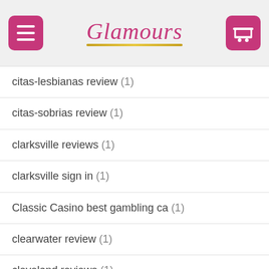Glamours
citas-lesbianas review (1)
citas-sobrias review (1)
clarksville reviews (1)
clarksville sign in (1)
Classic Casino best gambling ca (1)
clearwater review (1)
cleveland reviews (1)
Cleveland+OH+Ohio wikipedia reference (1)
clinton review (1)
clever dating visitors (1)